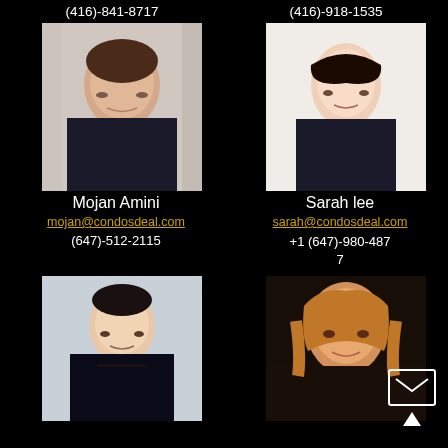(416)-841-8717
(416)-918-1535
[Figure (photo): Professional headshot of Mojan Amini, woman with dark hair, dark blazer, arms crossed]
[Figure (photo): Professional headshot of Sarah lee, woman with dark bob hair, dark blazer]
Mojan Amini
mojan@condosdeal.com
(647)-512-2115
Sarah lee
sarah@condosdeal.com
+1 (647)-980-4877
[Figure (photo): Professional headshot of Asian man in dark suit and tie, arms crossed]
[Figure (photo): Professional headshot of woman with long blonde/auburn hair, dark background]